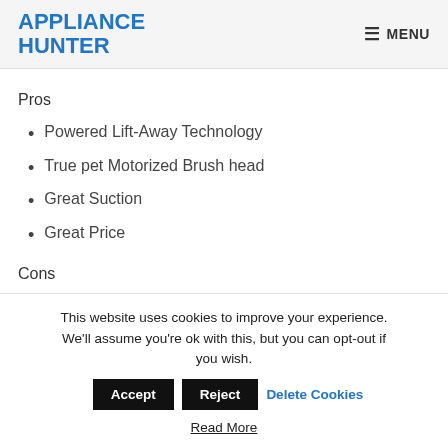APPLIANCE HUNTER  ☰ MENU
Pros
Powered Lift-Away Technology
True pet Motorized Brush head
Great Suction
Great Price
Cons
This website uses cookies to improve your experience. We'll assume you're ok with this, but you can opt-out if you wish.  Accept  Reject  Delete Cookies  Read More